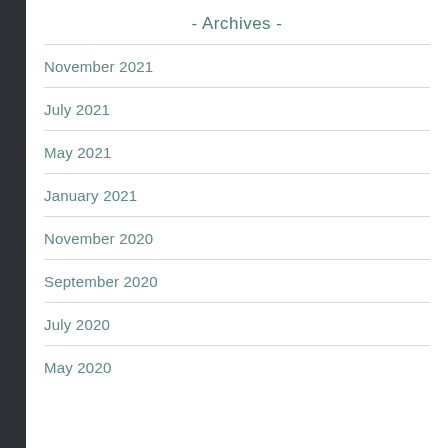- Archives -
November 2021
July 2021
May 2021
January 2021
November 2020
September 2020
July 2020
May 2020